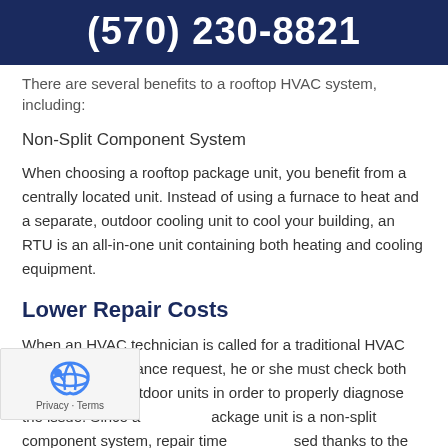(570) 230-8821
There are several benefits to a rooftop HVAC system, including:
Non-Split Component System
When choosing a rooftop package unit, you benefit from a centrally located unit. Instead of using a furnace to heat and a separate, outdoor cooling unit to cool your building, an RTU is an all-in-one unit containing both heating and cooling equipment.
Lower Repair Costs
When an HVAC technician is called for a traditional HVAC repair or maintenance request, he or she must check both the indoor and outdoor units in order to properly diagnose the issue. Since a package unit is a non-split component system, repair time is decreased thanks to the centrally located unit—lowering the costs of your HVAC repair and maintenance.